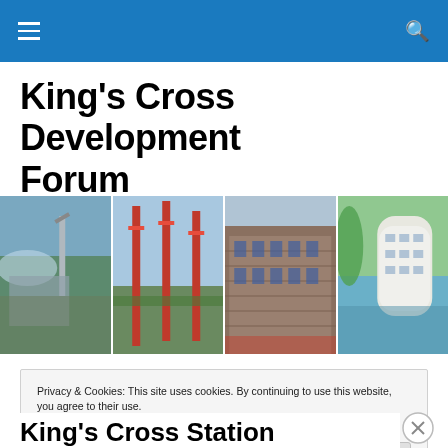Navigation bar with menu and search icons
King's Cross Development Forum
[Figure (photo): Four side-by-side photographs showing King's Cross development: construction site with crane and dome, red cranes against sky, brick warehouse building, and a modern white curved building by water.]
Privacy & Cookies: This site uses cookies. By continuing to use this website, you agree to their use.
To find out more, including how to control cookies, see here: Cookie Policy
King's Cross Station